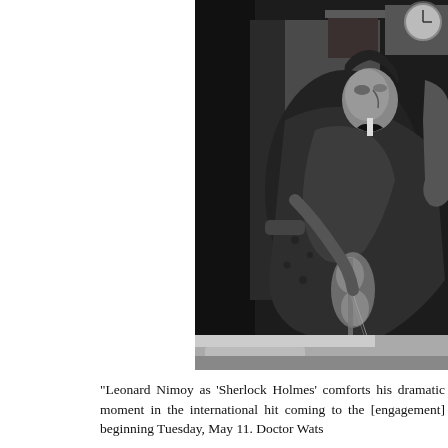[Figure (photo): Black and white photograph of Leonard Nimoy as Sherlock Holmes, seated in a chair wearing a dressing gown, holding a violin, in a dramatic theatrical scene.]
"Leonard Nimoy as 'Sherlock Holmes' comforts his dramatic moment in the international hit coming to the [engagement] beginning Tuesday, May 11. Doctor Wats